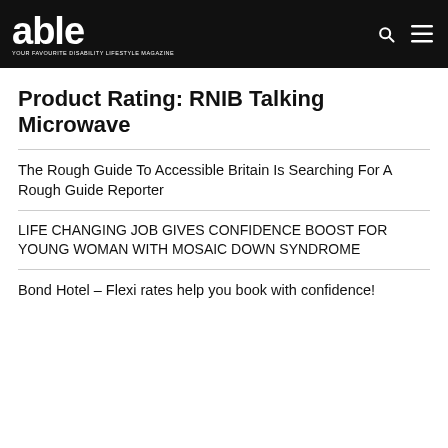able – YOUR FAVOURITE DISABILITY LIFESTYLE MAGAZINE
Product Rating: RNIB Talking Microwave
The Rough Guide To Accessible Britain Is Searching For A Rough Guide Reporter
LIFE CHANGING JOB GIVES CONFIDENCE BOOST FOR YOUNG WOMAN WITH MOSAIC DOWN SYNDROME
Bond Hotel – Flexi rates help you book with confidence!